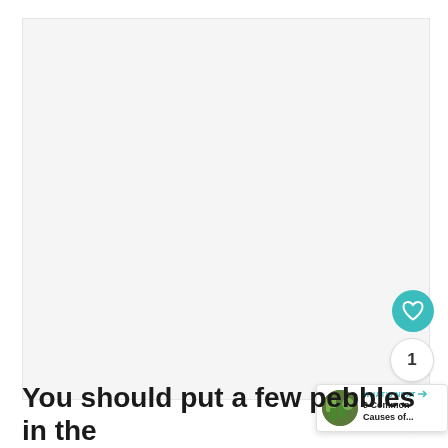[Figure (photo): Large light gray blank/placeholder image area taking up most of the upper portion of the page]
[Figure (infographic): UI overlay elements: teal heart/like button, count bubble showing 1, share button with plus icon, and a 'What's Next' panel with thumbnail and text '9 Common Causes of...']
You should put a few pebbles in the